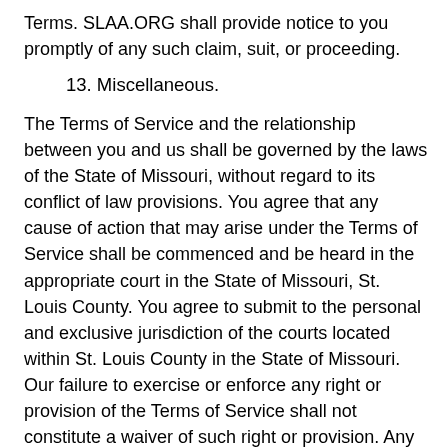Terms. SLAA.ORG shall provide notice to you promptly of any such claim, suit, or proceeding.
13. Miscellaneous.
The Terms of Service and the relationship between you and us shall be governed by the laws of the State of Missouri, without regard to its conflict of law provisions. You agree that any cause of action that may arise under the Terms of Service shall be commenced and be heard in the appropriate court in the State of Missouri, St. Louis County. You agree to submit to the personal and exclusive jurisdiction of the courts located within St. Louis County in the State of Missouri. Our failure to exercise or enforce any right or provision of the Terms of Service shall not constitute a waiver of such right or provision. Any waiver of any provision of these Terms of Service by SLAA.ORG must be made in writing and signed by an authorized representative of SLAA.ORG specifically referencing these Terms of Service and the provision to be waived. Headings used in these Terms of Service are for convenience only and are not to be relied upon. If any provision of the Terms of Service is found by a court of competent jurisdiction to be invalid, the parties nevertheless agree